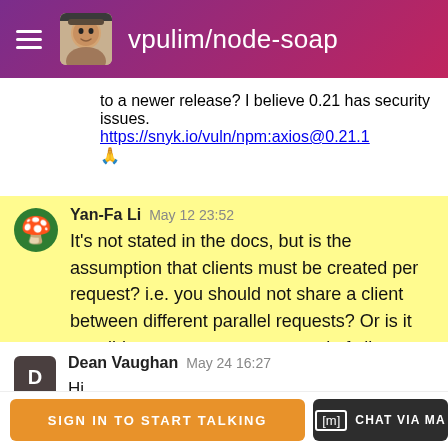vpulim/node-soap
to a newer release? I believe 0.21 has security issues. https://snyk.io/vuln/npm:axios@0.21.1 🙏
Yan-Fa Li  May 12 23:52
It's not stated in the docs, but is the assumption that clients must be created per request? i.e. you should not share a client between different parallel requests? Or is it possible to create a request pool of clients and re-use them?
Dean Vaughan  May 24 16:27
Hi,

im having a issue with parsing a soap file
SIGN IN TO START TALKING
[m] CHAT VIA MA